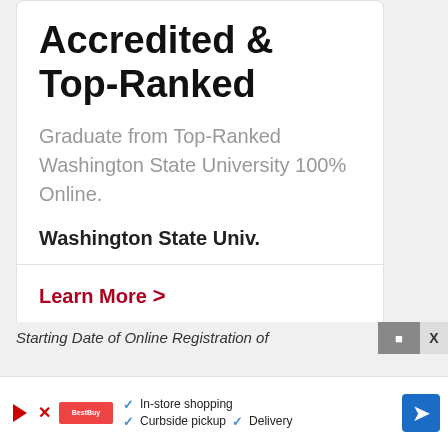Accredited & Top-Ranked
Graduate from Top-Ranked Washington State University 100% Online.
Washington State Univ.
Learn More >
Starting Date of Online Registration of
In-store shopping  Curbside pickup  Delivery